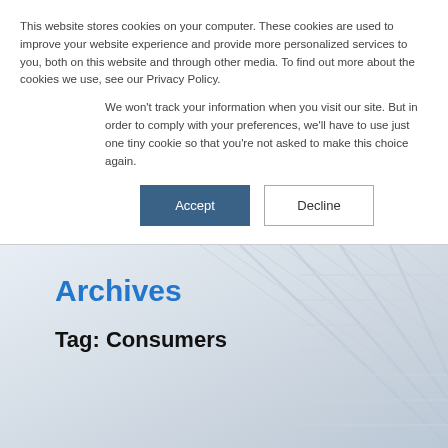This website stores cookies on your computer. These cookies are used to improve your website experience and provide more personalized services to you, both on this website and through other media. To find out more about the cookies we use, see our Privacy Policy.
We won't track your information when you visit our site. But in order to comply with your preferences, we'll have to use just one tiny cookie so that you're not asked to make this choice again.
Accept
Decline
Archives
Tag: Consumers
[Figure (photo): Background photo of server racks or blinds with a light gray/blue tone.]